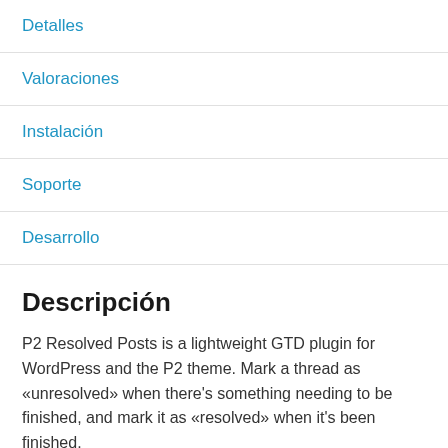Detalles
Valoraciones
Instalación
Soporte
Desarrollo
Descripción
P2 Resolved Posts is a lightweight GTD plugin for WordPress and the P2 theme. Mark a thread as «unresolved» when there's something needing to be finished, and mark it as «resolved» when it's been finished.
Sidebar widgets allow you to see all unresolved